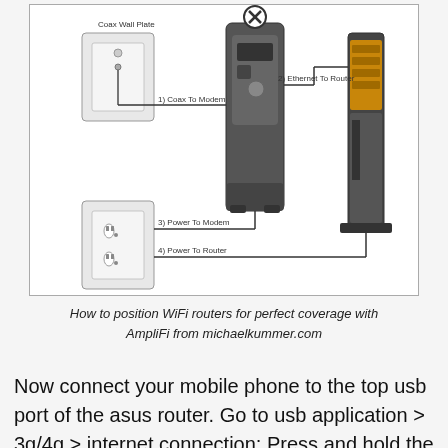[Figure (schematic): Network connection diagram showing a coax wall plate connected via coax cable to a modem (step 1), the modem connected via ethernet to a router (step 2), a power outlet connected to the modem (step 3), and a second outlet connected to the router (step 4). There is an X/close icon on the modem.]
How to position WiFi routers for perfect coverage with AmpliFi from michaelkummer.com
Now connect your mobile phone to the top usb port of the asus router. Go to usb application > 3g/4g > internet connection; Press and hold the dect button on the router